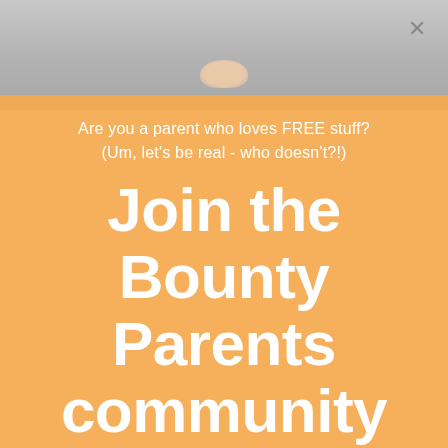[Figure (photo): Baby or child photo visible at top of page with grey/light background, partially obscured by orange overlay. A close (×) button appears in the upper right corner.]
Are you a parent who loves FREE stuff? (Um, let's be real - who doesn't?!)
Join the Bounty Parents community and be rewarded!